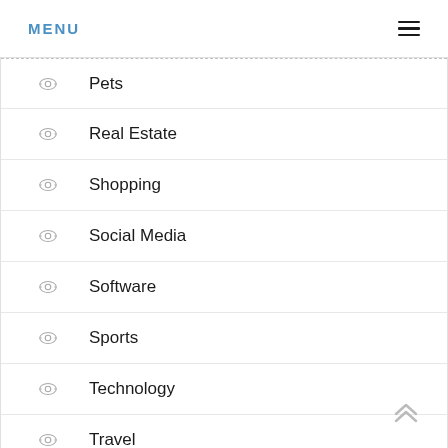MENU
Pets
Real Estate
Shopping
Social Media
Software
Sports
Technology
Travel